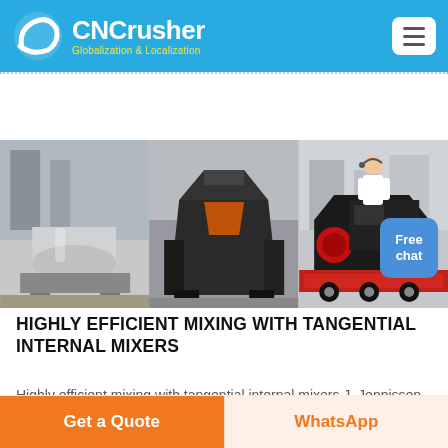CNCrusher — Globalization & Localization
[Figure (photo): Three industrial machines: a large cylindrical ball mill, a dark impact crusher, and heavy equipment loaded on a red flatbed truck]
HIGHLY EFFICIENT MIXING WITH TANGENTIAL INTERNAL MIXERS
Highly efficient mixing with tangential internal mixers J. Jennissen Rado Engineering , Lippstadt, Germany Selected from International
Get a Quote | WhatsApp